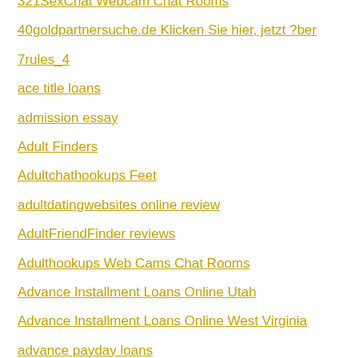321SexChat Webcam Chat Rooms
40goldpartnersuche.de Klicken Sie hier, jetzt ?ber
7rules_4
ace title loans
admission essay
Adult Finders
Adultchathookups Feet
adultdatingwebsites online review
AdultFriendFinder reviews
Adulthookups Web Cams Chat Rooms
Advance Installment Loans Online Utah
Advance Installment Loans Online West Virginia
advance payday loans